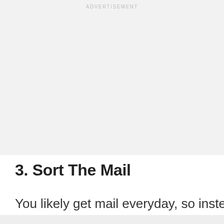ADVERTISEMENT
3. Sort The Mail
You likely get mail everyday, so instead of